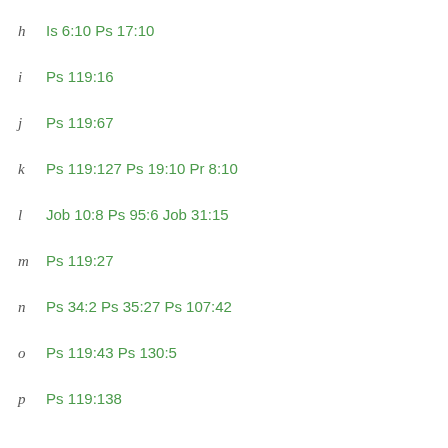h  Is 6:10 Ps 17:10
i  Ps 119:16
j  Ps 119:67
k  Ps 119:127 Ps 19:10 Pr 8:10
l  Job 10:8 Ps 95:6 Job 31:15
m  Ps 119:27
n  Ps 34:2 Ps 35:27 Ps 107:42
o  Ps 119:43 Ps 130:5
p  Ps 119:138